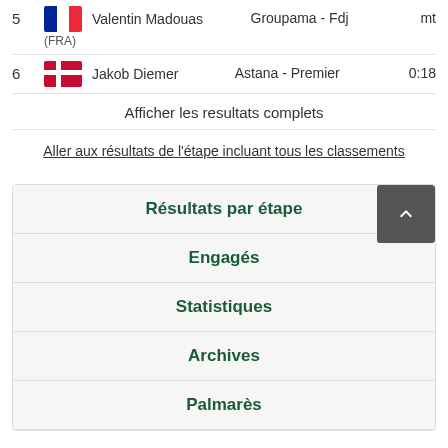5  Valentin Madouas  Groupama - Fdj  mt  (FRA)
6  Jakob Diemer  Astana - Premier  0:18
Afficher les resultats complets
Aller aux résultats de l'étape incluant tous les classements
Résultats par étape
Engagés
Statistiques
Archives
Palmarès